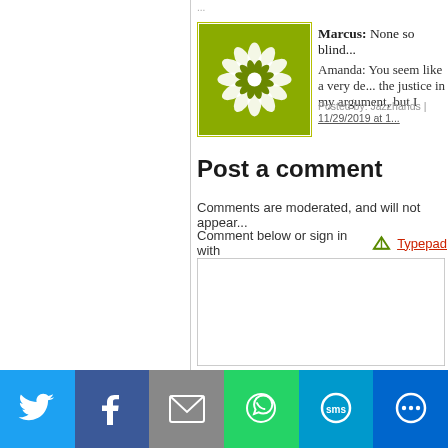[Figure (illustration): Green geometric flower/mandala avatar icon with white starburst pattern on olive/yellow-green background]
Marcus: None so blind...
Amanda: You seem like a very de... the justice in my argument, but I
Posted by: Jazzhands | 11/29/2019 at 1...
Post a comment
Comments are moderated, and will not appear...
Comment below or sign in with  Typepad
[Figure (screenshot): Empty text area input box for posting a comment]
[Figure (infographic): Social sharing bar with Twitter, Facebook, Email, WhatsApp, SMS, and More buttons]